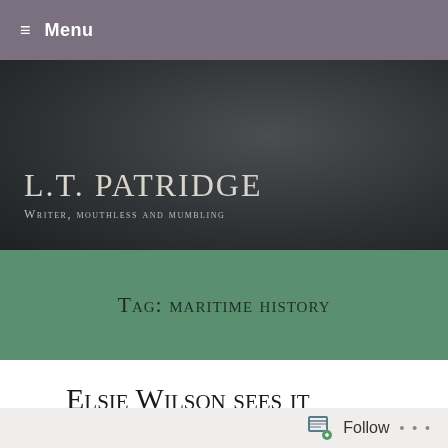≡ Menu
L.T. Patridge
Writer, mouthless and mumbling
Tag: maritime history
Elsie Wilson sees it through
Follow ...